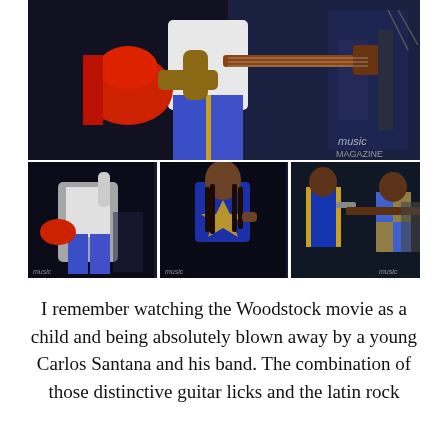[Figure (photo): Concert performance photo collage. Top: musician in white shirt holding a red electric guitar, wearing blue sequined pants on a dark stage. Bottom row left: same guitarist raising arm on stage with red guitar. Bottom center: performer in blue and gold jacket. Bottom right: multiple performers on stage in blue outfits singing and playing guitar.]
I remember watching the Woodstock movie as a child and being absolutely blown away by a young Carlos Santana and his band. The combination of those distinctive guitar licks and the latin rock